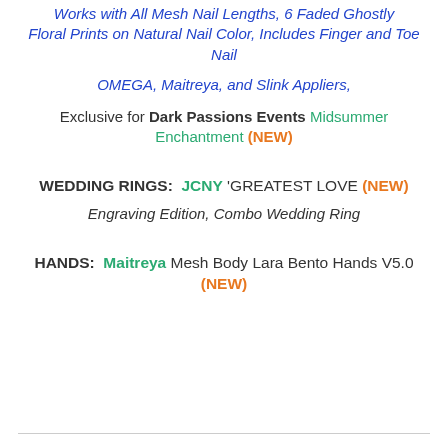Works with All Mesh Nail Lengths, 6 Faded Ghostly Floral Prints on Natural Nail Color, Includes Finger and Toe Nail
OMEGA, Maitreya, and Slink Appliers,
Exclusive for Dark Passions Events Midsummer Enchantment (NEW)
WEDDING RINGS:  JCNY 'GREATEST LOVE (NEW)
Engraving Edition, Combo Wedding Ring
HANDS:  Maitreya Mesh Body Lara Bento Hands V5.0 (NEW)